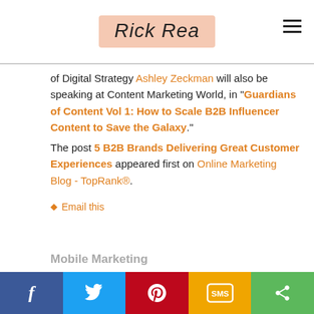Rick Rea
of Digital Strategy Ashley Zeckman will also be speaking at Content Marketing World, in "Guardians of Content Vol 1: How to Scale B2B Influencer Content to Save the Galaxy".
The post 5 B2B Brands Delivering Great Customer Experiences appeared first on Online Marketing Blog - TopRank®.
Email this
Mobile Marketing